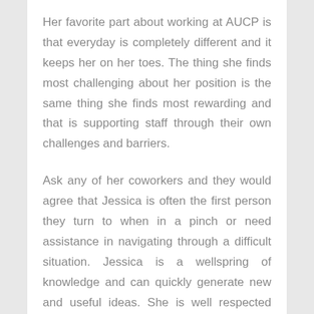Her favorite part about working at AUCP is that everyday is completely different and it keeps her on her toes. The thing she finds most challenging about her position is the same thing she finds most rewarding and that is supporting staff through their own challenges and barriers.
Ask any of her coworkers and they would agree that Jessica is often the first person they turn to when in a pinch or need assistance in navigating through a difficult situation. Jessica is a wellspring of knowledge and can quickly generate new and useful ideas. She is well respected amongst our staff and is a compassionate and